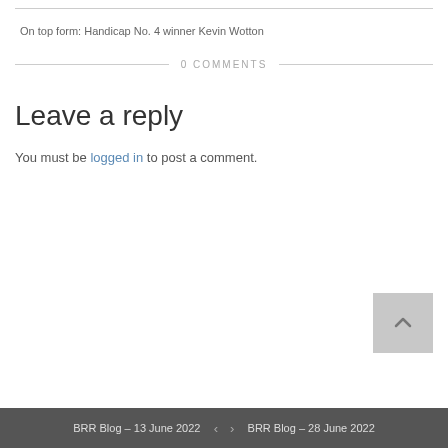On top form: Handicap No. 4 winner Kevin Wotton
0 COMMENTS
Leave a reply
You must be logged in to post a comment.
BRR Blog – 13 June 2022  <  >  BRR Blog – 28 June 2022